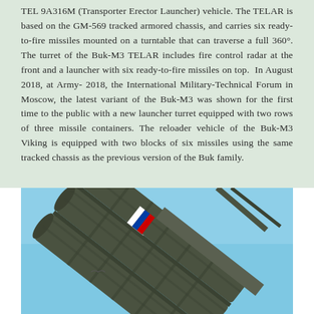TEL 9A316M (Transporter Erector Launcher) vehicle. The TELAR is based on the GM-569 tracked armored chassis, and carries six ready-to-fire missiles mounted on a turntable that can traverse a full 360°. The turret of the Buk-M3 TELAR includes fire control radar at the front and a launcher with six ready-to-fire missiles on top. In August 2018, at Army- 2018, the International Military-Technical Forum in Moscow, the latest variant of the Buk-M3 was shown for the first time to the public with a new launcher turret equipped with two rows of three missile containers. The reloader vehicle of the Buk-M3 Viking is equipped with two blocks of six missiles using the same tracked chassis as the previous version of the Buk family.
[Figure (photo): Photograph of a Buk-M3 missile launcher system showing missile tubes elevated at an angle against a blue sky, with a Russian flag visible on the launcher.]